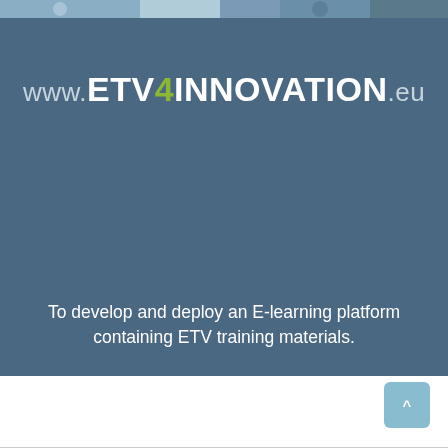[Figure (photo): Narrow photo strip at the top showing people or technology imagery in blue-grey tones]
www.ETV4INNOVATION.eu
To develop and deploy an E-learning platform containing ETV training materials.